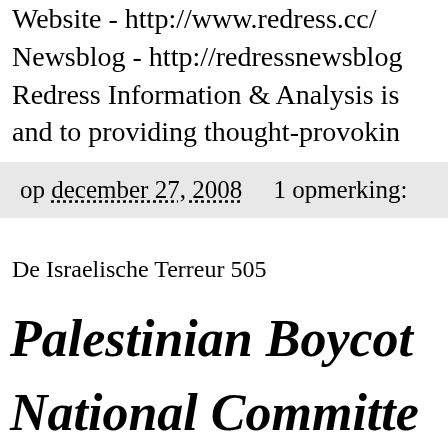Website - http://www.redress.cc/
Newsblog - http://redressnewsblog...
Redress Information & Analysis is...
and to providing thought-provokin...
op december 27, 2008    1 opmerking:
De Israelische Terreur 505
Palestinian Boycot...
National Committe...